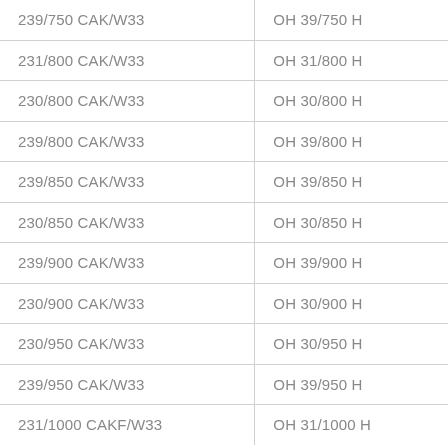| 239/750 CAK/W33 | OH 39/750 H |
| 231/800 CAK/W33 | OH 31/800 H |
| 230/800 CAK/W33 | OH 30/800 H |
| 239/800 CAK/W33 | OH 39/800 H |
| 239/850 CAK/W33 | OH 39/850 H |
| 230/850 CAK/W33 | OH 30/850 H |
| 239/900 CAK/W33 | OH 39/900 H |
| 230/900 CAK/W33 | OH 30/900 H |
| 230/950 CAK/W33 | OH 30/950 H |
| 239/950 CAK/W33 | OH 39/950 H |
| 231/1000 CAKF/W33 | OH 31/1000 H |